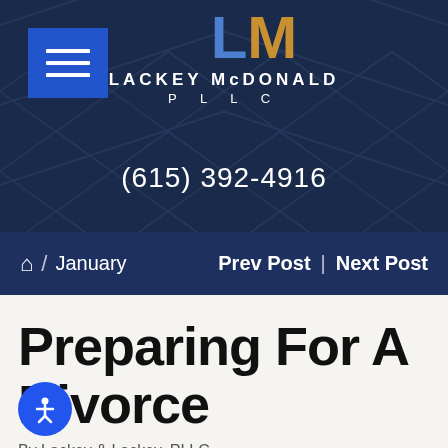[Figure (logo): Lackey McDonald PLLC law firm logo with LM initials in blue and gold on dark navy background with diamond pattern, phone number (615) 392-4916]
🏠 / January    Prev Post | Next Post
Preparing For A Divorce
By Lackey & Lackey, PLLC